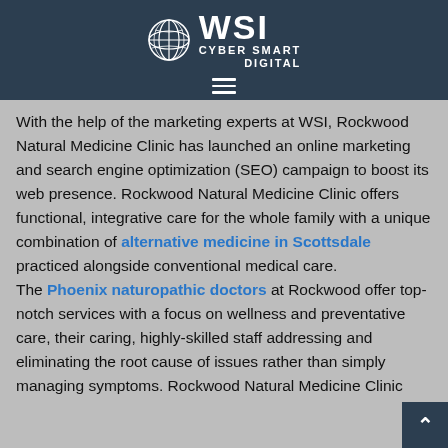[Figure (logo): WSI Cyber Smart Digital logo — globe icon beside bold 'WSI' letters and 'CYBER SMART DIGITAL' text on dark navy background, with hamburger menu icon below]
With the help of the marketing experts at WSI, Rockwood Natural Medicine Clinic has launched an online marketing and search engine optimization (SEO) campaign to boost its web presence. Rockwood Natural Medicine Clinic offers functional, integrative care for the whole family with a unique combination of alternative medicine in Scottsdale practiced alongside conventional medical care. The Phoenix naturopathic doctors at Rockwood offer top-notch services with a focus on wellness and preventative care, their caring, highly-skilled staff addressing and eliminating the root cause of issues rather than simply managing symptoms. Rockwood Natural Medicine Clinic